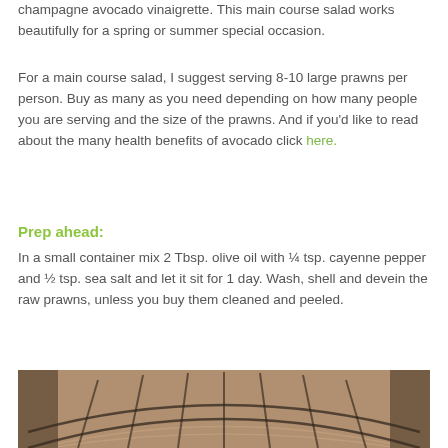champagne avocado vinaigrette. This main course salad works beautifully for a spring or summer special occasion.
For a main course salad, I suggest serving 8-10 large prawns per person. Buy as many as you need depending on how many people you are serving and the size of the prawns. And if you'd like to read about the many health benefits of avocado click here.
Prep ahead:
In a small container mix 2 Tbsp. olive oil with ¼ tsp. cayenne pepper and ½ tsp. sea salt and let it sit for 1 day. Wash, shell and devein the raw prawns, unless you buy them cleaned and peeled.
[Figure (photo): Close-up photo of a colander or strainer with a curved grid pattern, showing raw prawns or kitchen equipment in warm brown and dark tones.]